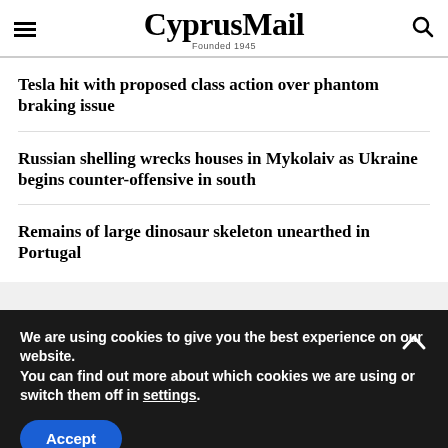CyprusMail — Founded 1945
Tesla hit with proposed class action over phantom braking issue
Russian shelling wrecks houses in Mykolaiv as Ukraine begins counter-offensive in south
Remains of large dinosaur skeleton unearthed in Portugal
We are using cookies to give you the best experience on our website.
You can find out more about which cookies we are using or switch them off in settings.
Accept